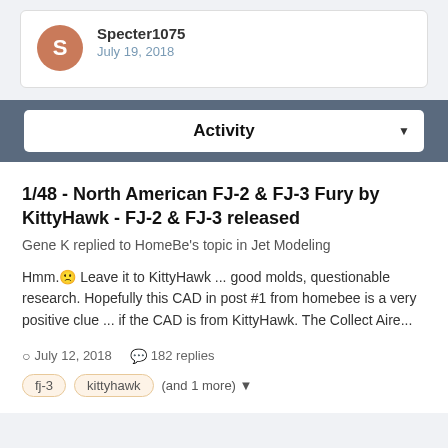Specter1075 — July 19, 2018
Activity
1/48 - North American FJ-2 & FJ-3 Fury by KittyHawk - FJ-2 & FJ-3 released
Gene K replied to HomeBe's topic in Jet Modeling
Hmm.😕 Leave it to KittyHawk ... good molds, questionable research. Hopefully this CAD in post #1 from homebee is a very positive clue ... if the CAD is from KittyHawk. The Collect Aire...
July 12, 2018 · 182 replies
fj-3
kittyhawk
(and 1 more)